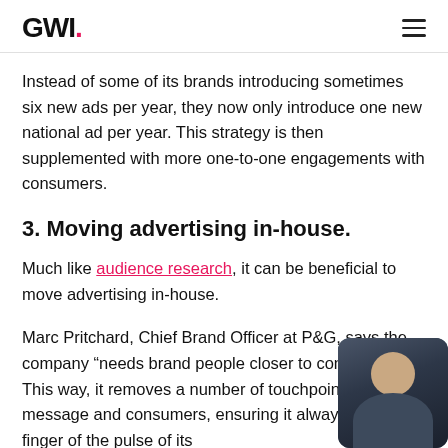GWI.
Instead of some of its brands introducing sometimes six new ads per year, they now only introduce one new national ad per year. This strategy is then supplemented with more one-to-one engagements with consumers.
3. Moving advertising in-house.
Much like audience research, it can be beneficial to move advertising in-house.
Marc Pritchard, Chief Brand Officer at P&G, says the company “needs brand people closer to consumers.” This way, it removes a number of touchpoints between message and consumers, ensuring it always has a finger of the pulse of its
[Figure (photo): Small portrait photo of a person, partially visible in the bottom-right corner of the page.]